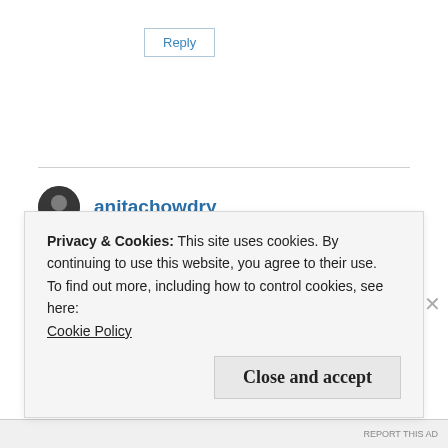Reply
anitachowdry
August 12, 2016 at 3:36 am
Privacy & Cookies: This site uses cookies. By continuing to use this website, you agree to their use.
To find out more, including how to control cookies, see here:
Cookie Policy
Close and accept